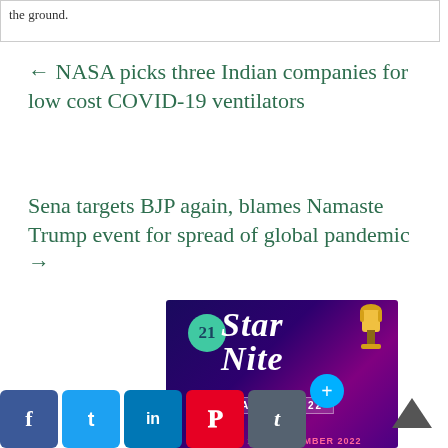the ground.
← NASA picks three Indian companies for low cost COVID-19 ventilators
Sena targets BJP again, blames Namaste Trump event for spread of global pandemic →
[Figure (photo): 21 Star Nite Award 2022 promotional banner with trophy, teal badge with '21', stylized text 'Star Nite', and date Friday, 11th November 2022]
Friday, 11th November 2022